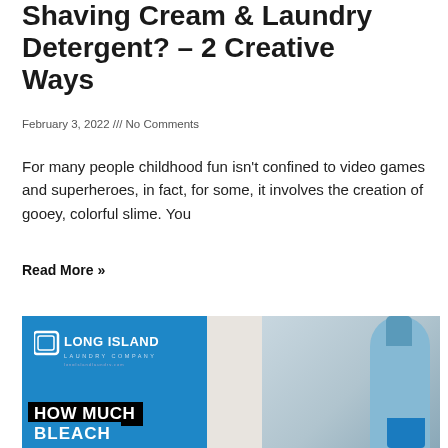Shaving Cream & Laundry Detergent? – 2 Creative Ways
February 3, 2022 /// No Comments
For many people childhood fun isn't confined to video games and superheroes, in fact, for some, it involves the creation of gooey, colorful slime. You
Read More »
[Figure (photo): Image with blue left panel featuring Long Island Laundry Company logo and text overlay 'HOW MUCH BLEACH', and right half showing a photo of a blue detergent bottle being poured into a blue cup.]